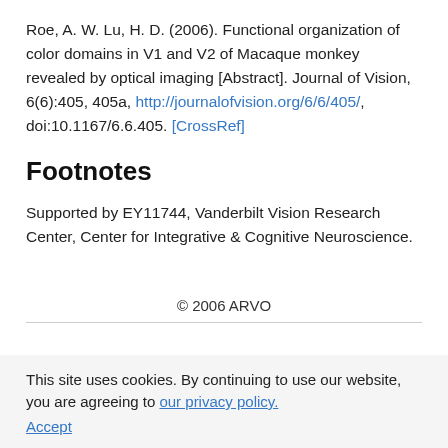Roe, A. W. Lu, H. D. (2006). Functional organization of color domains in V1 and V2 of Macaque monkey revealed by optical imaging [Abstract]. Journal of Vision, 6(6):405, 405a, http://journalofvision.org/6/6/405/, doi:10.1167/6.6.405. [CrossRef]
Footnotes
Supported by EY11744, Vanderbilt Vision Research Center, Center for Integrative & Cognitive Neuroscience.
© 2006 ARVO
This site uses cookies. By continuing to use our website, you are agreeing to our privacy policy. Accept